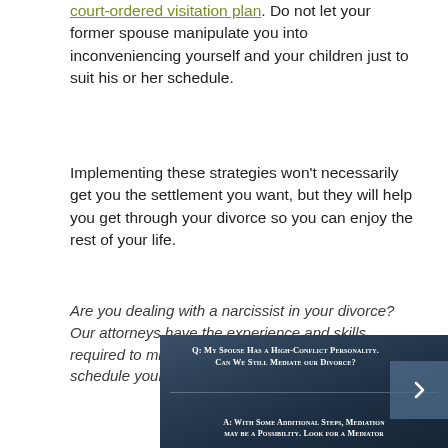court-ordered visitation plan. Do not let your former spouse manipulate you into inconveniencing yourself and your children just to suit his or her schedule.
Implementing these strategies won't necessarily get you the settlement you want, but they will help you get through your divorce so you can enjoy the rest of your life.
Are you dealing with a narcissist in your divorce? Our attorneys have the experience and skills required to minimize conflict. Please contact us to schedule your initial attorney consultation.
[Figure (infographic): Dark blue ocean/water background image with white small-caps text. Top section: 'Q: My Spouse Has a High-Conflict Personality. Can We Still Mediate our Divorce?' Bottom section: 'A: With Some Additional Steps, Mediation may be a Possibility. Look for a Mediator'. A translucent blue navigation arrow box is on the right side.]